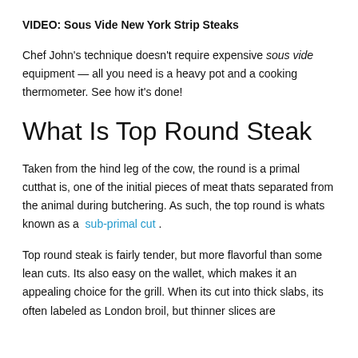VIDEO: Sous Vide New York Strip Steaks
Chef John's technique doesn't require expensive sous vide equipment — all you need is a heavy pot and a cooking thermometer. See how it's done!
What Is Top Round Steak
Taken from the hind leg of the cow, the round is a primal cutthat is, one of the initial pieces of meat thats separated from the animal during butchering. As such, the top round is whats known as a sub-primal cut .
Top round steak is fairly tender, but more flavorful than some lean cuts. Its also easy on the wallet, which makes it an appealing choice for the grill. When its cut into thick slabs, its often labeled as London broil, but thinner slices are